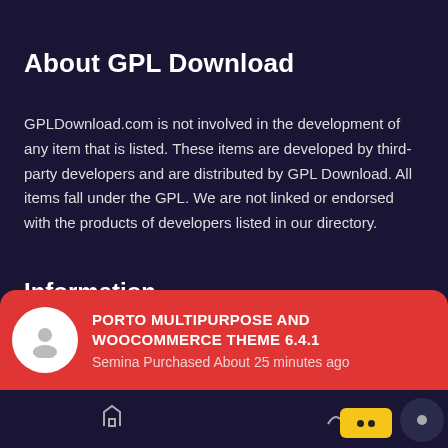About GPL Download
GPLDownload.com is not involved in the development of any item that is listed. These items are developed by third-party developers and are distributed by GPL Download. All items fall under the GPL. We are not linked or endorsed with the products of developers listed in our directory.
Information
Term & Conditions
Privacy Policy
PORTO MULTIPURPOSE AND WOOCOMMERCE THEME 6.4.1
Semina Purchased About 25 minutes ago